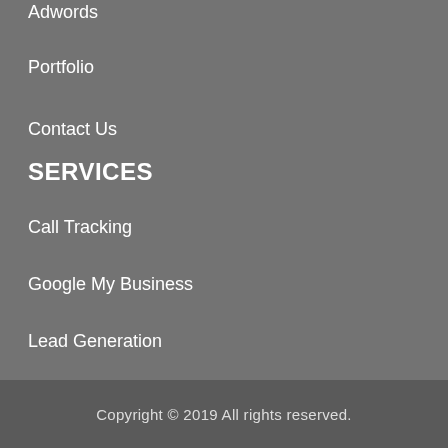Adwords
Portfolio
Contact Us
SERVICES
Call Tracking
Google My Business
Lead Generation
Mobile Friendly
Copyright © 2019 All rights reserved.